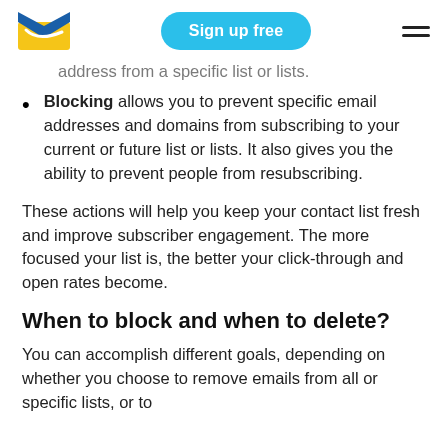Sign up free
address from a specific list or lists.
Blocking allows you to prevent specific email addresses and domains from subscribing to your current or future list or lists. It also gives you the ability to prevent people from resubscribing.
These actions will help you keep your contact list fresh and improve subscriber engagement. The more focused your list is, the better your click-through and open rates become.
When to block and when to delete?
You can accomplish different goals, depending on whether you choose to remove emails from all or specific lists, or to